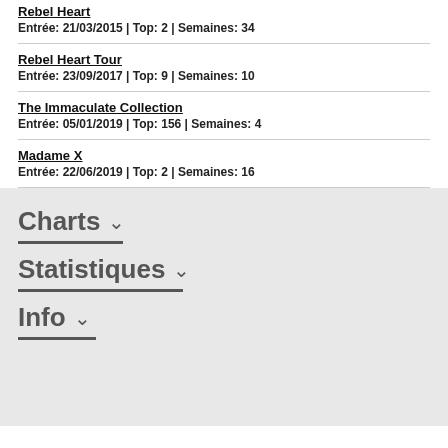Rebel Heart | Entrée: 21/03/2015 | Top: 2 | Semaines: 34
Rebel Heart Tour | Entrée: 23/09/2017 | Top: 9 | Semaines: 10
The Immaculate Collection | Entrée: 05/01/2019 | Top: 156 | Semaines: 4
Madame X | Entrée: 22/06/2019 | Top: 2 | Semaines: 16
Charts
Statistiques
Info